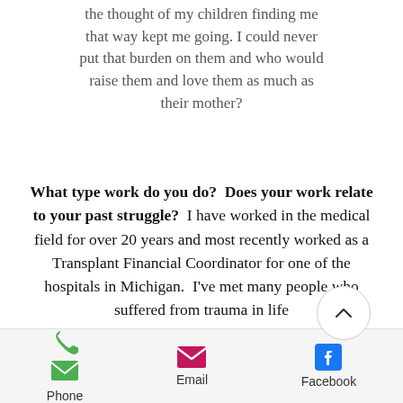the thought of my children finding me that way kept me going. I could never put that burden on them and who would raise them and love them as much as their mother?
What type work do you do? Does your work relate to your past struggle? I have worked in the medical field for over 20 years and most recently worked as a Transplant Financial Coordinator for one of the hospitals in Michigan. I've met many people who suffered from trauma in life
Phone   Email   Facebook